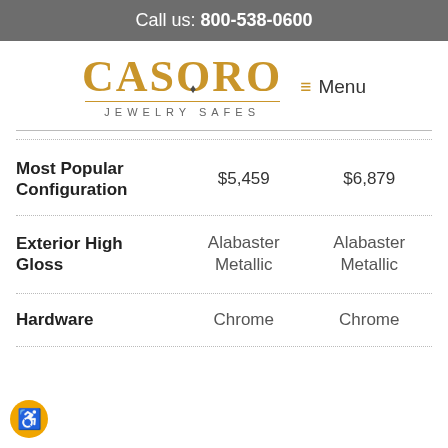Call us: 800-538-0600
[Figure (logo): Casoro Jewelry Safes logo with gold lettering and diamond icon, underlined]
Menu
|  | Col1 | Col2 |
| --- | --- | --- |
| Most Popular Configuration | $5,459 | $6,879 |
| Exterior High Gloss | Alabaster Metallic | Alabaster Metallic |
| Hardware | Chrome | Chrome |